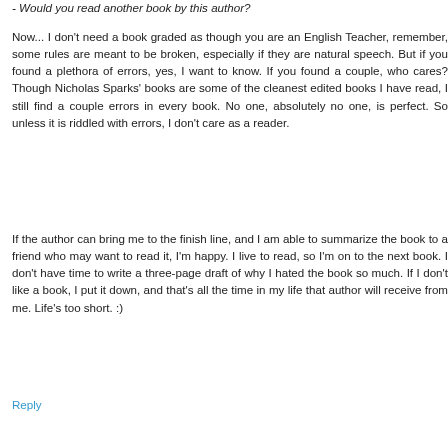- Would you read another book by this author?
Now... I don't need a book graded as though you are an English Teacher, remember, some rules are meant to be broken, especially if they are natural speech. But if you found a plethora of errors, yes, I want to know. If you found a couple, who cares? Though Nicholas Sparks' books are some of the cleanest edited books I have read, I still find a couple errors in every book. No one, absolutely no one, is perfect. So unless it is riddled with errors, I don't care as a reader.
If the author can bring me to the finish line, and I am able to summarize the book to a friend who may want to read it, I'm happy. I live to read, so I'm on to the next book. I don't have time to write a three-page draft of why I hated the book so much. If I don't like a book, I put it down, and that's all the time in my life that author will receive from me. Life's too short. :)
Reply